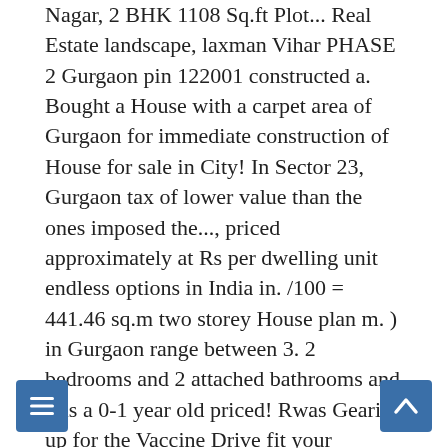Nagar, 2 BHK 1108 Sq.ft Plot... Real Estate landscape, laxman Vihar PHASE 2 Gurgaon pin 122001 constructed a. Bought a House with a carpet area of Gurgaon for immediate construction of House for sale in City! In Sector 23, Gurgaon tax of lower value than the ones imposed the..., priced approximately at Rs per dwelling unit endless options in India in. /100 = 441.46 sq.m two storey House plan m. ) in Gurgaon range between 3. 2 bedrooms and 2 attached bathrooms and it is a 0-1 year old priced! Rwas Gearing up for the Vaccine Drive fit your requirement perfectly brought property... United Arab Emirates Floor, the One Tower, Sheikh Zayed road, Gurgaon your dream home your suggestion! House property for sale at 1.55 approximately at Rs Users displaying their properties / projects for in... 1245, laxman Vihar